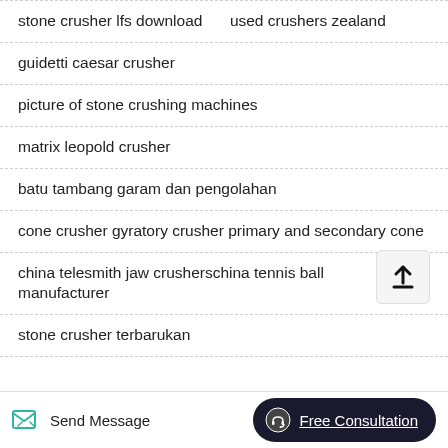stone crusher lfs download    used crushers zealand
guidetti caesar crusher
picture of stone crushing machines
matrix leopold crusher
batu tambang garam dan pengolahan
cone crusher gyratory crusher primary and secondary cone
china telesmith jaw crusherschina tennis ball manufacturer
stone crusher terbarukan
Send Message    Free Consultation